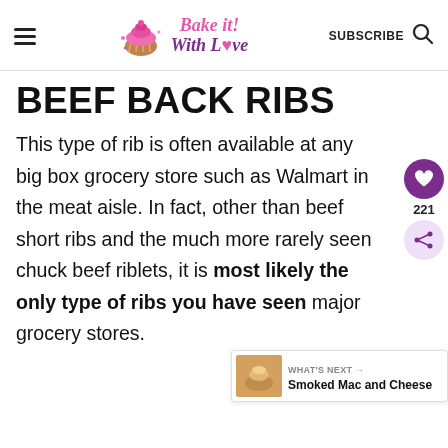Bake it With Love — SUBSCRIBE
BEEF BACK RIBS
This type of rib is often available at any big box grocery store such as Walmart in the meat aisle. In fact, other than beef short ribs and the much more rarely seen chuck beef riblets, it is most likely the only type of ribs you have seen major grocery stores.